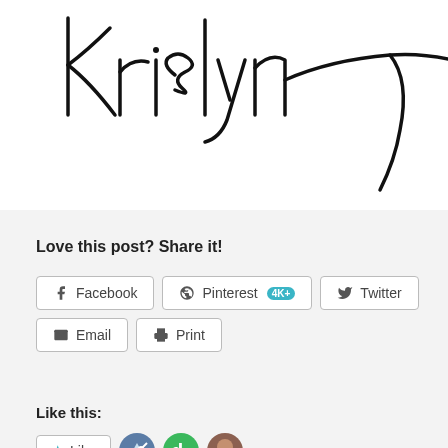[Figure (illustration): Handwritten cursive signature reading 'Krislyn' in black ink on white background]
Love this post? Share it!
Facebook
Pinterest 4K+
Twitter
Email
Print
Like this:
Like
2 bloggers like this.